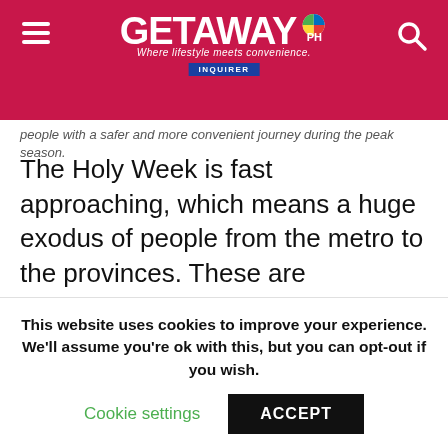GETAWAY PH — Where lifestyle meets convenience. INQUIRER
people with a safer and more convenient journey during the peak season.
The Holy Week is fast approaching, which means a huge exodus of people from the metro to the provinces. These are individuals and families who devote their time attending to their religious duties, as well as those who would want to take advantage of the days off from work to visit family in their hometowns or simply to just enjoy a relaxing vacation for a couple of days.
This website uses cookies to improve your experience. We'll assume you're ok with this, but you can opt-out if you wish. Cookie settings ACCEPT